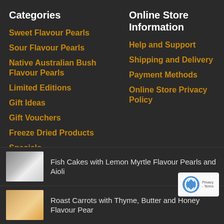Categories
Sweet Flavour Pearls
Sour Flavour Pearls
Native Australian Bush Flavour Pearls
Limited Editions
Gift Ideas
Gift Vouchers
Freeze Dried Products
Specials
Online Store Information
Help and Support
Shipping and Delivery
Payment Methods
Online Store Privacy Policy
[Figure (photo): Food photo of fish cakes dish]
Fish Cakes with Lemon Myrtle Flavour Pearls and Aioli
[Figure (photo): Food photo of roast carrots dish]
Roast Carrots with Thyme, Butter and Honey Flavour Pearls
[Figure (logo): reCAPTCHA badge with Privacy and Terms links]